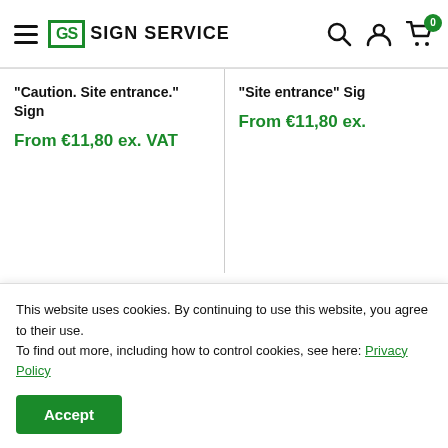Sign Service — menu, logo, search, account, cart (0)
"Caution. Site entrance." Sign
From €11,80 ex. VAT
"Site entrance" Sign
From €11,80 ex.
This website uses cookies. By continuing to use this website, you agree to their use.
To find out more, including how to control cookies, see here: Privacy Policy
Accept